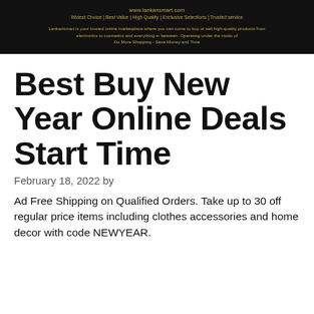[Figure (other): Lankansmart website header banner with dark background, gold/yellow text showing website URL, tagline, and description about the online marketplace]
Best Buy New Year Online Deals Start Time
February 18, 2022 by
Ad Free Shipping on Qualified Orders. Take up to 30 off regular price items including clothes accessories and home decor with code NEWYEAR.